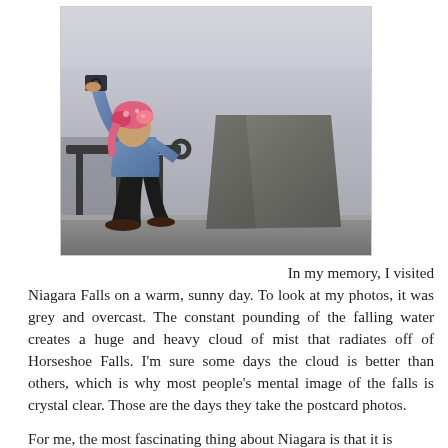[Figure (photo): A person wearing a floral headscarf and blue long-sleeve shirt crouches on a stone ledge near a metal railing, holding up a camera to take a photo. A large grey rock sits beside them. The background is grey and overcast, consistent with Niagara Falls mist.]
In my memory, I visited Niagara Falls on a warm, sunny day. To look at my photos, it was grey and overcast. The constant pounding of the falling water creates a huge and heavy cloud of mist that radiates off of Horseshoe Falls. I'm sure some days the cloud is better than others, which is why most people's mental image of the falls is crystal clear. Those are the days they take the postcard photos.
For me, the most fascinating thing about Niagara is that it is